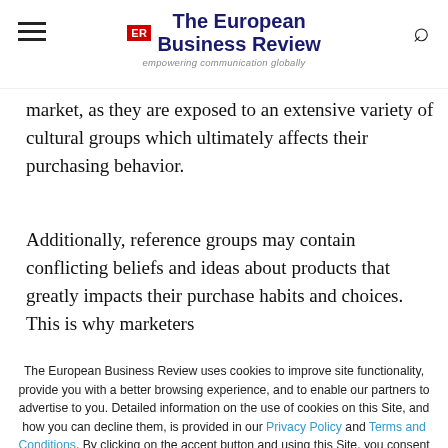The European Business Review — empowering communication globally
market, as they are exposed to an extensive variety of cultural groups which ultimately affects their purchasing behavior.
Additionally, reference groups may contain conflicting beliefs and ideas about products that greatly impacts their purchase habits and choices. This is why marketers
The European Business Review uses cookies to improve site functionality, provide you with a better browsing experience, and to enable our partners to advertise to you. Detailed information on the use of cookies on this Site, and how you can decline them, is provided in our Privacy Policy and Terms and Conditions. By clicking on the accept button and using this Site, you consent to our Privacy Policy and Terms and Conditions.
ACCEPT